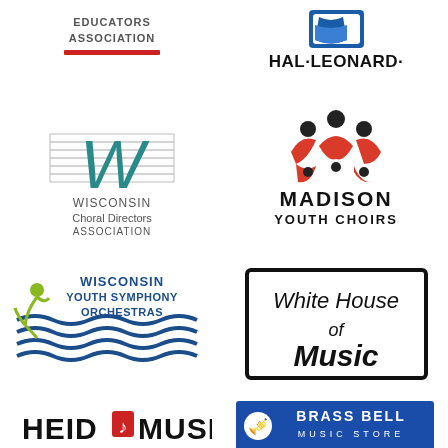[Figure (logo): Music Educators Association logo with red underline bar]
[Figure (logo): Hal Leonard logo with blue graphic and bold text HAL·LEONARD·]
[Figure (logo): Wisconsin Choral Directors Association logo with stylized W on staff lines]
[Figure (logo): Madison Youth Choirs logo with red abstract choir figures and bold text]
[Figure (logo): Wisconsin Youth Symphony Orchestras logo with blue lines and green figure]
[Figure (logo): White House of Music logo in black outlined box with serif font]
[Figure (logo): Heid Music logo in bold black text with red music note icon]
[Figure (logo): Brass Bell Music Store logo in blue box with white text and horn icon]